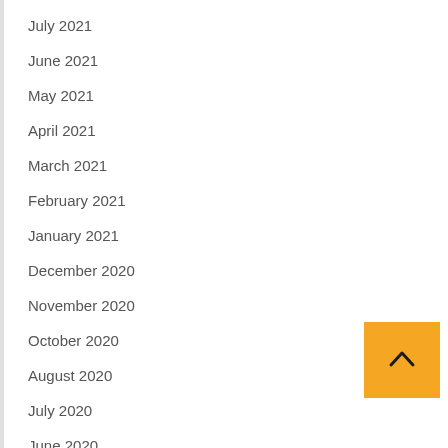July 2021
June 2021
May 2021
April 2021
March 2021
February 2021
January 2021
December 2020
November 2020
October 2020
August 2020
July 2020
June 2020
March 2020